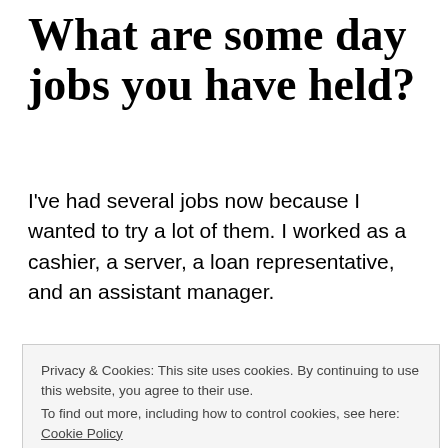What are some day jobs you have held?
I've had several jobs now because I wanted to try a lot of them. I worked as a cashier, a server, a loan representative, and an assistant manager.
What are some ways in which you
Privacy & Cookies: This site uses cookies. By continuing to use this website, you agree to their use.
To find out more, including how to control cookies, see here: Cookie Policy
Close and accept
continuously spam my followers into buying my